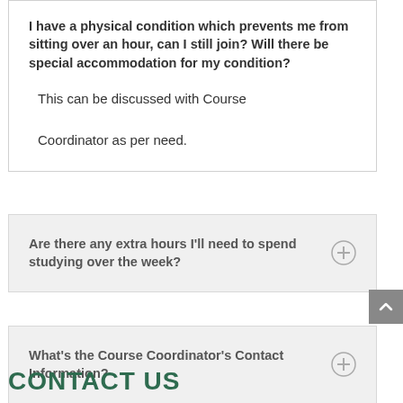I have a physical condition which prevents me from sitting over an hour, can I still join? Will there be special accommodation for my condition?
This can be discussed with Course Coordinator as per need.
Are there any extra hours I'll need to spend studying over the week?
What's the Course Coordinator's Contact Information?
CONTACT US